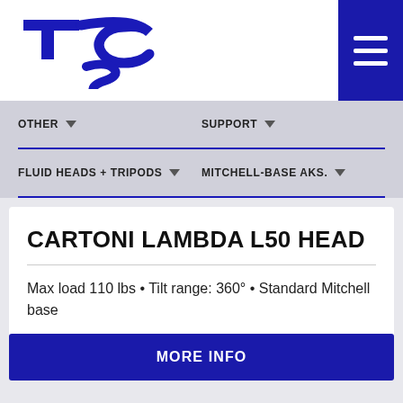[Figure (logo): TCS logo — stylized blue letters T, C, S with a swoosh underline]
OTHER ▾    SUPPORT ▾
FLUID HEADS + TRIPODS ▾    MITCHELL-BASE AKS. ▾
CARTONI LAMBDA L50 HEAD
Max load 110 lbs • Tilt range: 360° • Standard Mitchell base
MORE INFO